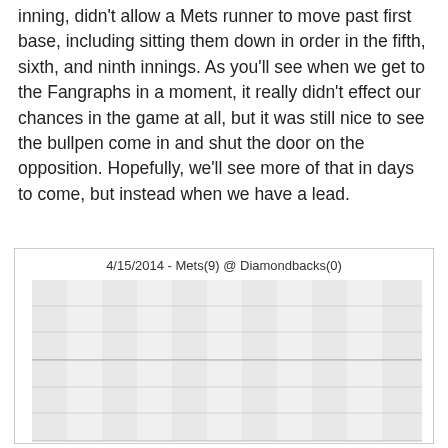inning, didn't allow a Mets runner to move past first base, including sitting them down in order in the fifth, sixth, and ninth innings. As you'll see when we get to the Fangraphs in a moment, it really didn't effect our chances in the game at all, but it was still nice to see the bullpen come in and shut the door on the opposition. Hopefully, we'll see more of that in days to come, but instead when we have a lead.
[Figure (continuous-plot): A Fangraphs win probability chart showing the game between Mets and Diamondbacks on 4/15/2014. The chart area is partially visible with alternating light grey vertical bands and horizontal grid lines. The full chart content is cut off.]